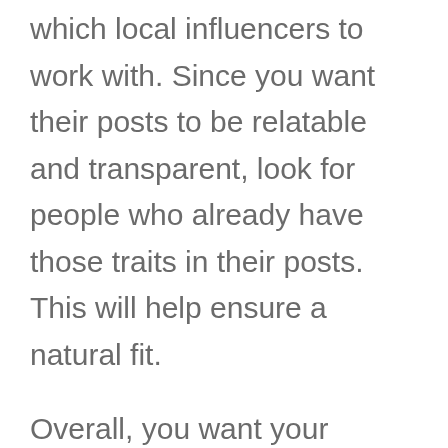which local influencers to work with. Since you want their posts to be relatable and transparent, look for people who already have those traits in their posts. This will help ensure a natural fit.
Overall, you want your influencer to have common values. They should also have interests that are relevant to your company in some way.
When it comes time to narrow down your influencers, you want to pay more